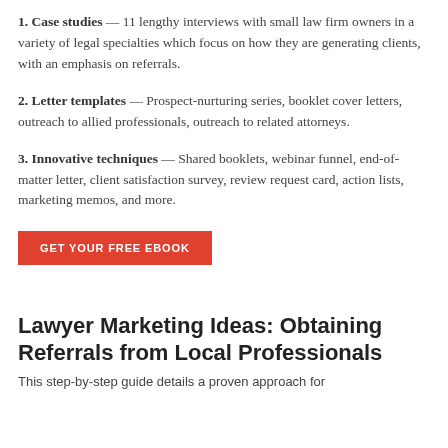1. Case studies — 11 lengthy interviews with small law firm owners in a variety of legal specialties which focus on how they are generating clients, with an emphasis on referrals.
2. Letter templates — Prospect-nurturing series, booklet cover letters, outreach to allied professionals, outreach to related attorneys.
3. Innovative techniques — Shared booklets, webinar funnel, end-of-matter letter, client satisfaction survey, review request card, action lists, marketing memos, and more.
GET YOUR FREE EBOOK
Lawyer Marketing Ideas: Obtaining Referrals from Local Professionals
This step-by-step guide details a proven approach for